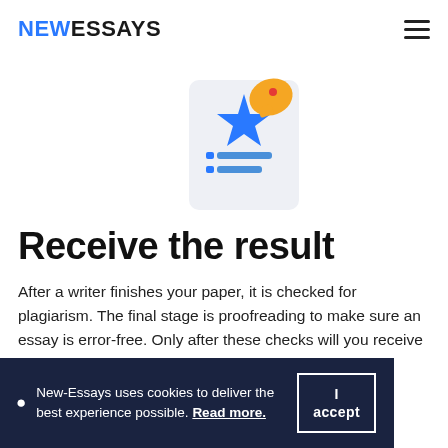NEWESSAYS
[Figure (illustration): Illustration of a document with a blue star rating and a yellow speech/award badge, with blue check/list lines below the star, on a light grey rounded background.]
Receive the result
After a writer finishes your paper, it is checked for plagiarism. The final stage is proofreading to make sure an essay is error-free. Only after these checks will you receive a paper that will impress your professor.
New-Essays uses cookies to deliver the best experience possible. Read more. I accept